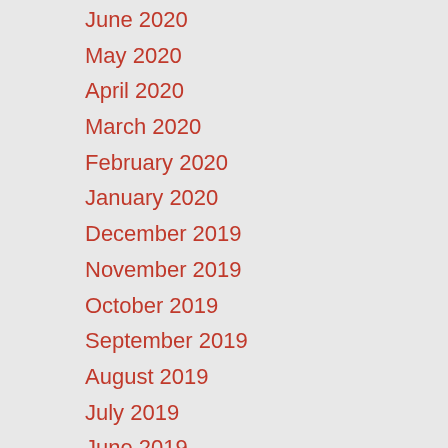June 2020
May 2020
April 2020
March 2020
February 2020
January 2020
December 2019
November 2019
October 2019
September 2019
August 2019
July 2019
June 2019
May 2019
April 2019
March 2019
February 2019
January 2019
December 2018